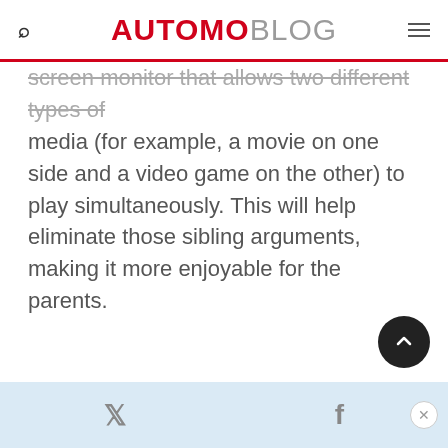AUTOMOBLOG
screen monitor that allows two different types of media (for example, a movie on one side and a video game on the other) to play simultaneously. This will help eliminate those sibling arguments, making it more enjoyable for the parents.